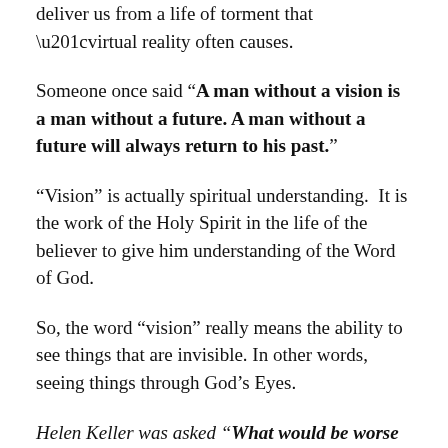deliver us from a life of torment that “virtual reality often causes.
Someone once said “A man without a vision is a man without a future. A man without a future will always return to his past.”
“Vision” is actually spiritual understanding.  It is the work of the Holy Spirit in the life of the believer to give him understanding of the Word of God.
So, the word “vision” really means the ability to see things that are invisible. In other words, seeing things through God’s Eyes.
Helen Keller was asked “What would be worse than being born blind?” She replied, “The only thing worse than being blind is to have sight